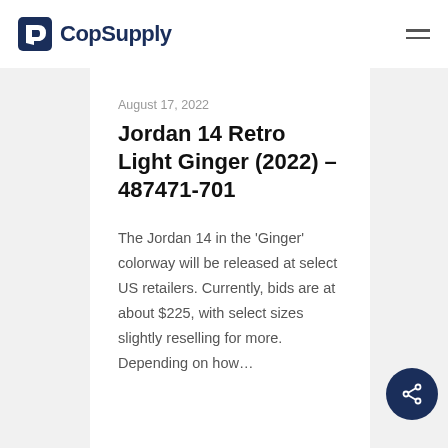CopSupply
August 17, 2022
Jordan 14 Retro Light Ginger (2022) – 487471-701
The Jordan 14 in the 'Ginger' colorway will be released at select US retailers. Currently, bids are at about $225, with select sizes slightly reselling for more. Depending on how…